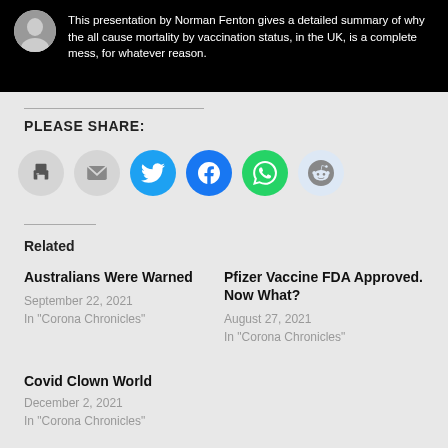[Figure (screenshot): Social media post screenshot on black background with avatar and text: 'This presentation by Norman Fenton gives a detailed summary of why the all cause mortality by vaccination status, in the UK, is a complete mess, for whatever reason.']
PLEASE SHARE:
[Figure (infographic): Row of social share icon buttons: print (gray), email (gray), Twitter (blue), Facebook (blue), WhatsApp (green), Reddit (light blue)]
Related
Australians Were Warned
September 22, 2021
In "Corona Chronicles"
Pfizer Vaccine FDA Approved. Now What?
August 27, 2021
In "Corona Chronicles"
Covid Clown World
December 2, 2021
In "Corona Chronicles"